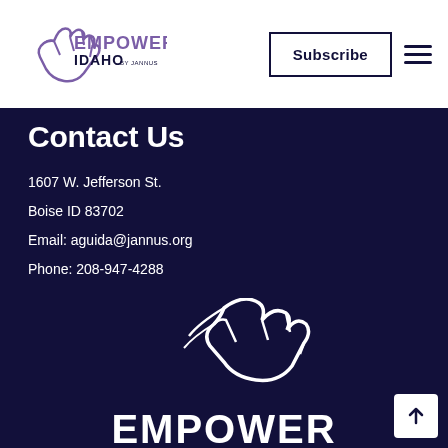[Figure (logo): Empower Idaho by Jannus logo with hand gesture icon and text]
[Figure (other): Subscribe button and hamburger menu in header]
Contact Us
1607 W. Jefferson St.
Boise ID 83702
Email: aguida@jannus.org
Phone: 208-947-4288
Fax: 208-331-0267
[Figure (illustration): Social media icons: Facebook (f) and Instagram]
[Figure (logo): Large Empower Idaho logo watermark at bottom of dark section with hand gesture graphic and EMPOWER text]